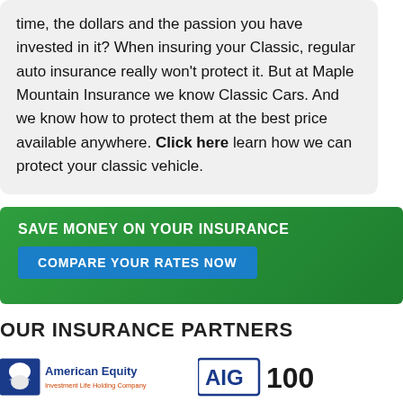time, the dollars and the passion you have invested in it? When insuring your Classic, regular auto insurance really won't protect it. But at Maple Mountain Insurance we know Classic Cars. And we know how to protect them at the best price available anywhere. Click here learn how we can protect your classic vehicle.
[Figure (infographic): Green banner with white text 'SAVE MONEY ON YOUR INSURANCE' and a blue button labeled 'COMPARE YOUR RATES NOW']
OUR INSURANCE PARTNERS
[Figure (logo): American Equity Investment Life Holding Company logo]
[Figure (logo): AIG 100 logo]